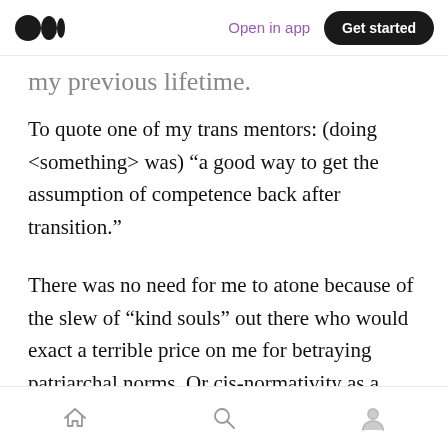Medium logo | Open in app | Get started
my previous lifetime.
To quote one of my trans mentors: (doing <something> was) “a good way to get the assumption of competence back after transition.”
There was no need for me to atone because of the slew of “kind souls” out there who would exact a terrible price on me for betraying patriarchal norms. Or cis-normativity as a whole, as the practice is not limited to cis men. Anywhere from blatant accusations to not-so-innocent hinting.
Home | Search | Profile